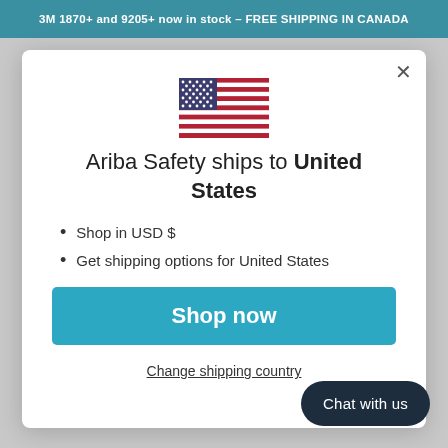3M 1870+ and 9205+ now in stock – FREE SHIPPING IN CANADA
[Figure (illustration): US flag emoji/icon centered in modal]
Ariba Safety ships to United States
Shop in USD $
Get shipping options for United States
Shop now
Change shipping country
Chat with us